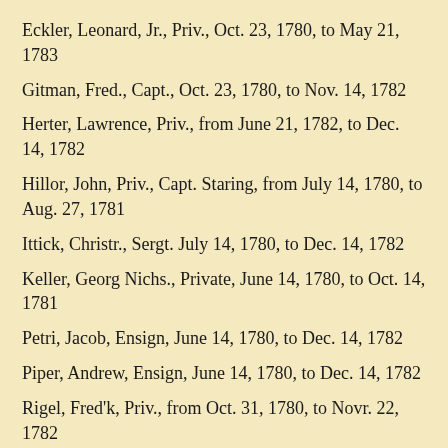Eckler, Leonard, Jr., Priv., Oct. 23, 1780, to May 21, 1783
Gitman, Fred., Capt., Oct. 23, 1780, to Nov. 14, 1782
Herter, Lawrence, Priv., from June 21, 1782, to Dec. 14, 1782
Hillor, John, Priv., Capt. Staring, from July 14, 1780, to Aug. 27, 1781
Ittick, Christr., Sergt. July 14, 1780, to Dec. 14, 1782
Keller, Georg Nichs., Private, June 14, 1780, to Oct. 14, 1781
Petri, Jacob, Ensign, June 14, 1780, to Dec. 14, 1782
Piper, Andrew, Ensign, June 14, 1780, to Dec. 14, 1782
Rigel, Fred'k, Priv., from Oct. 31, 1780, to Novr. 22, 1782
Schomaker, John, Jr., Priv., Capt. Frank, from May 12, 1781, to Oct. 1, 1782
Schomaker, Thos., Priv., from May 12, 1781, to Dec. 14